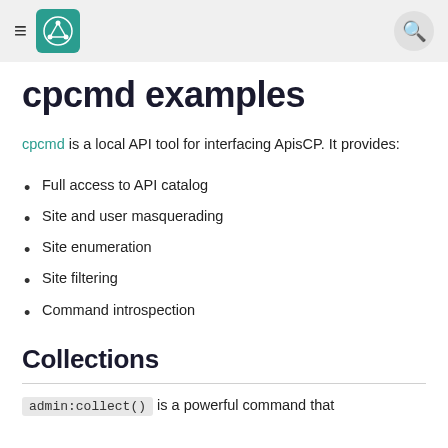cpcmd examples — ApisCP documentation
cpcmd examples
cpcmd is a local API tool for interfacing ApisCP. It provides:
Full access to API catalog
Site and user masquerading
Site enumeration
Site filtering
Command introspection
Collections
admin:collect() is a powerful command that